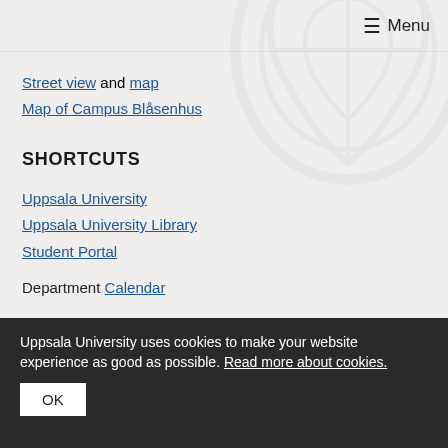≡ Menu
Street view and map
Map of Campus Blåsenhus
SHORTCUTS
Uppsala University
Uppsala University Library
Student Portal
Department Calendar
Uppsala University uses cookies to make your website experience as good as possible. Read more about cookies. OK